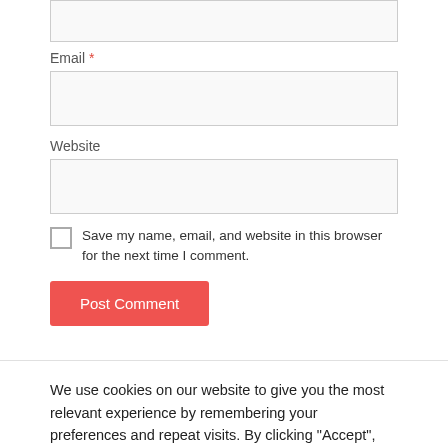Email *
Website
Save my name, email, and website in this browser for the next time I comment.
Post Comment
We use cookies on our website to give you the most relevant experience by remembering your preferences and repeat visits. By clicking “Accept”, you consent to the use of ALL the cookies.
Do not sell my personal information.
Cookie Settings
Accept